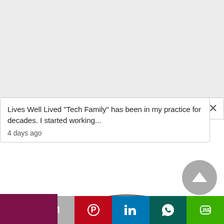Lives Well Lived "Tech Family" has been in my practice for decades. I started working...
4 days ago
[Figure (illustration): Anatomical illustration of a human skull in lateral view with colored highlights on nasal/maxillary region (teal/cyan) and a bone structure (orange/salmon). A finger points at the highlighted area. A vertical dark magenta sidebar reads 'Muscular Techn' (cropped).]
[Figure (infographic): Social media share bar at bottom with icons for Twitter (blue), Gmail (grey), Pinterest (red), LinkedIn (blue), WhatsApp (dark teal), LINE (green).]